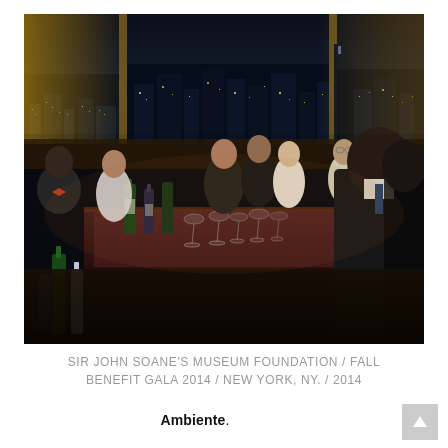[Figure (photo): Indoor evening gala event photo. People in formal attire stand and sit around a bar/table area with wine glasses, bottles, and candles. A large panoramic window in the background reveals a nighttime New York City skyline with city lights. On the right side stands a man in a dark suit. The atmosphere is upscale and dimly lit.]
SIR JOHN SOANE'S MUSEUM FOUNDATION / FALL BENEFIT GALA 2014 / NEW YORK, NY. / 2014
Ambiente.